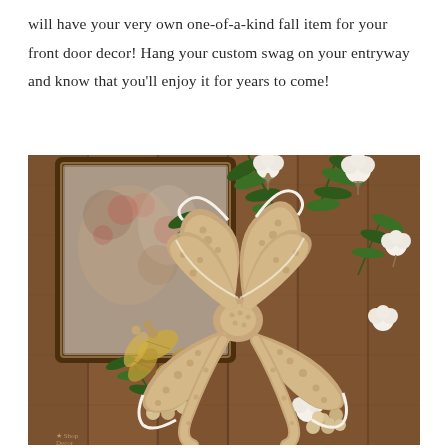will have your very own one-of-a-kind fall item for your front door decor! Hang your custom swag on your entryway and know that you'll enjoy it for years to come!
[Figure (photo): A decorative fall/winter door swag with burlap bow, cotton bolls, pine sprigs, gold berries and leaves, hanging on a rustic wooden door frame with a mirror behind it.]